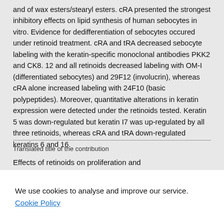and of wax esters/stearyl esters. cRA presented the strongest inhibitory effects on lipid synthesis of human sebocytes in vitro. Evidence for dedifferentiation of sebocytes occured under retinoid treatment. cRA and tRA decreased sebocyte labeling with the keratin-specific monoclonal antibodies PKK2 and CK8.12 and all retinoids decreased labeling with OM-I (differentiated sebocytes) and 29F12 (involucrin), whereas cRA alone increased labeling with 24F10 (basic polypeptides). Moreover, quantitative alterations in keratin expression were detected under the retinoids tested. Keratin 5 was down-regulated but keratin I7 was up-regulated by all three retinoids, whereas cRA and tRA down-regulated keratins 6 and 16.
Translated title of the contribution
Effects of retinoids on proliferation and differentiation of human sebaceous cells in an in vitro model
We use cookies to analyse and improve our service. Cookie Policy